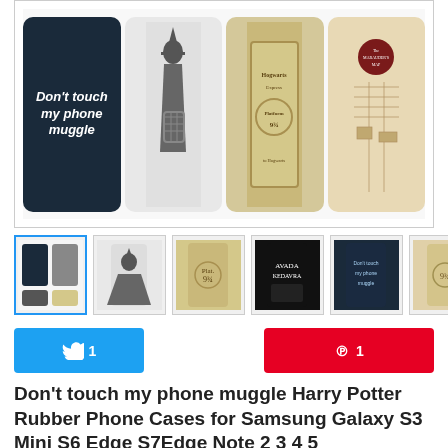[Figure (photo): Main product image showing four Harry Potter themed phone cases: 'Don't touch my phone muggle' dark case, wizard figure case, Platform 9 3/4 ticket case, and Marauder's Map case]
[Figure (photo): Six thumbnail images of Harry Potter phone cases showing various designs]
[Figure (other): Twitter share button (blue) and Pinterest save button (red)]
Don't touch my phone muggle Harry Potter Rubber Phone Cases for Samsung Galaxy S3 Mini S6 Edge S7Edge Note 2 3 4 5
7 orders
Price: US $7.99